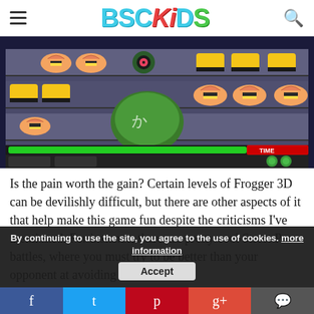BSCKiDS
[Figure (screenshot): A screenshot from the video game Frogger 3D showing a sushi conveyor belt level with various sushi pieces (shrimp nigiri, tamagoyaki, maki rolls) on a conveyor belt. A green frog character is visible in the center. A time bar and life indicators are shown at the bottom of the game screen.]
Is the pain worth the gain? Certain levels of Frogger 3D can be devilishly difficult, but there are other aspects of it that help make this game fun despite the criticisms I've mentioned. For instance, there are pretty cool Street Pass battles, where you must try to be better than your opponent at avoiding traffic. The
By continuing to use the site, you agree to the use of cookies. more information
Accept